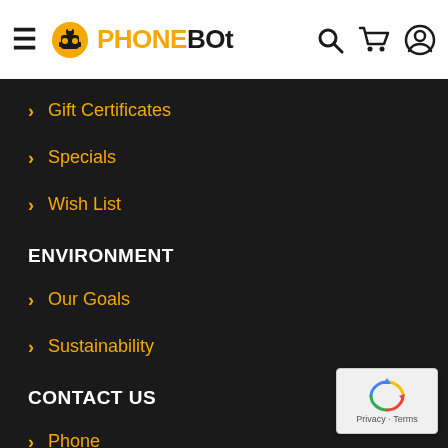PHONEBOT
Gift Certificates
Specials
Wish List
ENVIRONMENT
Our Goals
Sustainability
CONTACT US
Phone
[Figure (logo): reCAPTCHA badge with recycling arrows icon and Privacy - Terms text]